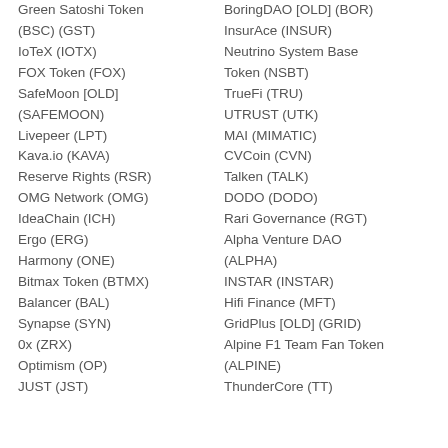Green Satoshi Token (BSC) (GST)
IoTeX (IOTX)
FOX Token (FOX)
SafeMoon [OLD] (SAFEMOON)
Livepeer (LPT)
Kava.io (KAVA)
Reserve Rights (RSR)
OMG Network (OMG)
IdeaChain (ICH)
Ergo (ERG)
Harmony (ONE)
Bitmax Token (BTMX)
Balancer (BAL)
Synapse (SYN)
0x (ZRX)
Optimism (OP)
JUST (JST)
BoringDAO [OLD] (BOR)
InsurAce (INSUR)
Neutrino System Base Token (NSBT)
TrueFi (TRU)
UTRUST (UTK)
MAI (MIMATIC)
CVCoin (CVN)
Talken (TALK)
DODO (DODO)
Rari Governance (RGT)
Alpha Venture DAO (ALPHA)
INSTAR (INSTAR)
Hifi Finance (MFT)
GridPlus [OLD] (GRID)
Alpine F1 Team Fan Token (ALPINE)
ThunderCore (TT)